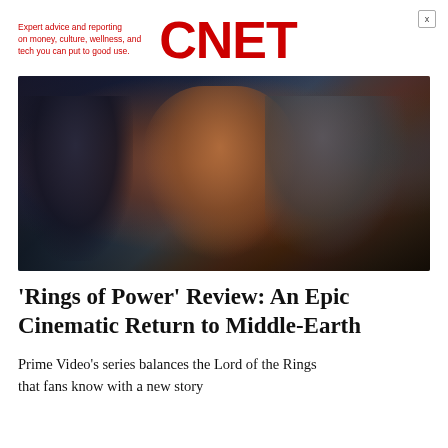Expert advice and reporting on money, culture, wellness, and tech you can put to good use. CNET
[Figure (photo): A scene from Rings of Power showing a dwarf character with red beard and armor in the foreground, a dark armored figure on the left, and a grey-robed figure on the right, in a dark cinematic setting.]
'Rings of Power' Review: An Epic Cinematic Return to Middle-Earth
Prime Video's series balances the Lord of the Rings that fans know with a new story